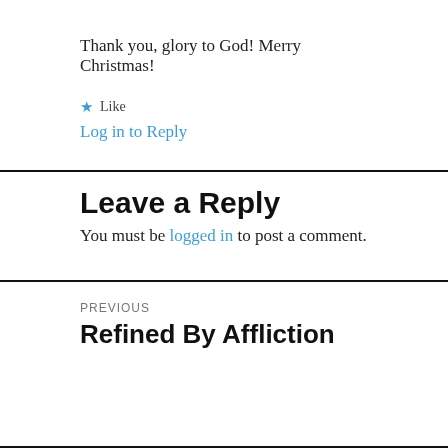Thank you, glory to God! Merry Christmas!
★ Like
Log in to Reply
Leave a Reply
You must be logged in to post a comment.
PREVIOUS
Refined By Affliction